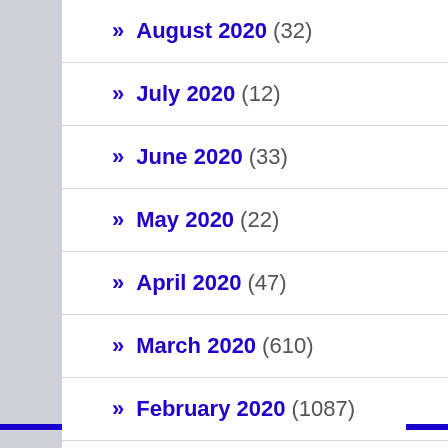August 2020 (32)
July 2020 (12)
June 2020 (33)
May 2020 (22)
April 2020 (47)
March 2020 (610)
February 2020 (1087)
January 2020 (948)
December 2019 (966)
November 2019 (847)